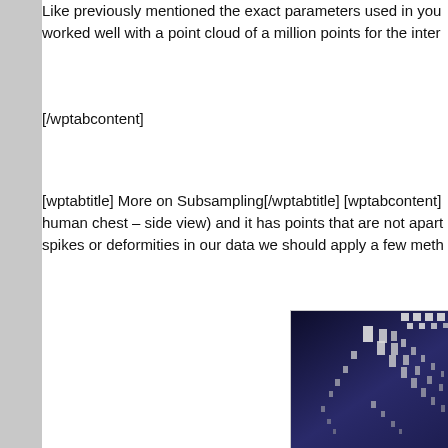Like previously mentioned the exact parameters used in you worked well with a point cloud of a million points for the inter
[/wptabcontent]
[wptabtitle] More on Subsampling[/wptabtitle] [wptabcontent] human chest – side view) and it has points that are not apart spikes or deformities in our data we should apply a few meth
[Figure (photo): A point cloud visualization showing a 3D scan of what appears to be a human chest side view, displayed with dark blue/purple background and white/light gray point markers forming streaking diagonal patterns.]